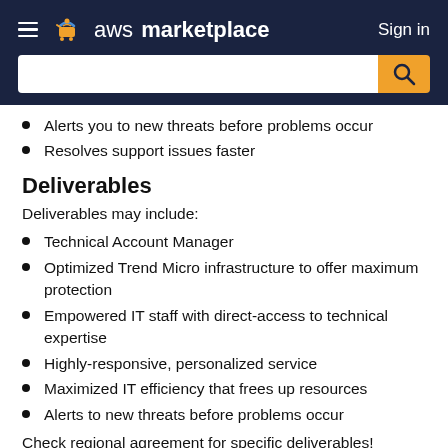aws marketplace | Sign in
Alerts you to new threats before problems occur
Resolves support issues faster
Deliverables
Deliverables may include:
Technical Account Manager
Optimized Trend Micro infrastructure to offer maximum protection
Empowered IT staff with direct-access to technical expertise
Highly-responsive, personalized service
Maximized IT efficiency that frees up resources
Alerts to new threats before problems occur
Check regional agreement for specific deliverables!